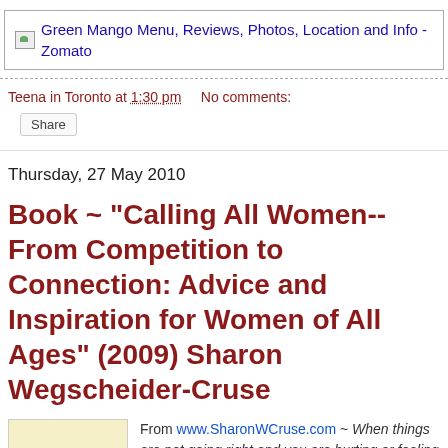[Figure (screenshot): Green Mango Menu, Reviews, Photos, Location and Info - Zomato image link placeholder]
Teena in Toronto at 1:30 pm   No comments:
Share
Thursday, 27 May 2010
Book ~ "Calling All Women--From Competition to Connection: Advice and Inspiration for Women of All Ages" (2009) Sharon Wegscheider-Cruse
[Figure (photo): Book cover: Calling All Women From Competition to Connection]
From www.SharonWCruse.com ~ When things are not going right and you are hurting or feeling overwhelmed, perhaps what you need is a heart-to-heart talk with